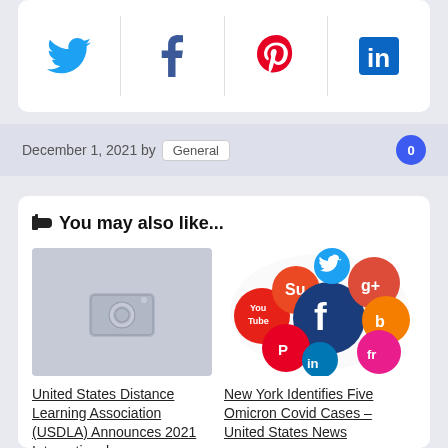[Figure (infographic): Social sharing buttons row: Twitter, Facebook, Pinterest, LinkedIn icons in white rounded card]
December 1, 2021 by General  0
👆 You may also like...
[Figure (photo): Placeholder camera image (gray background with white camera icon) for United States Distance Learning Association article]
[Figure (illustration): Social media icons cluster: YouTube, StumbleUpon, Facebook, Google+, Pinterest, LinkedIn, Blogger, Friendfeed logos in colorful circles]
United States Distance Learning Association (USDLA) Announces 2021 International
New York Identifies Five Omicron Covid Cases – United States News